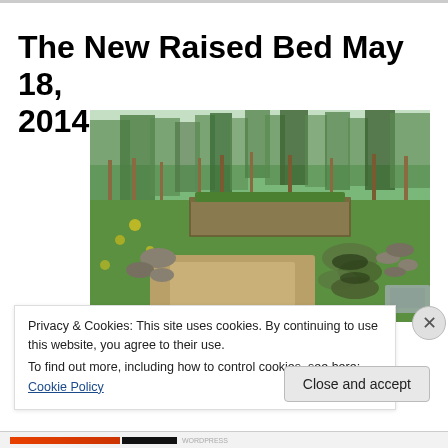The New Raised Bed May 18, 2014
[Figure (photo): Outdoor garden photo showing a newly prepared raised bed area. In the foreground is a rectangular patch of bare dirt/soil. To the right are piles of sod that has been removed. In the background is an existing raised bed with plants and garden stakes, surrounded by green grass and dandelions. Trees and forest are visible in the background. A wheelbarrow is visible at the lower right corner.]
Privacy & Cookies: This site uses cookies. By continuing to use this website, you agree to their use.
To find out more, including how to control cookies, see here: Cookie Policy
Close and accept